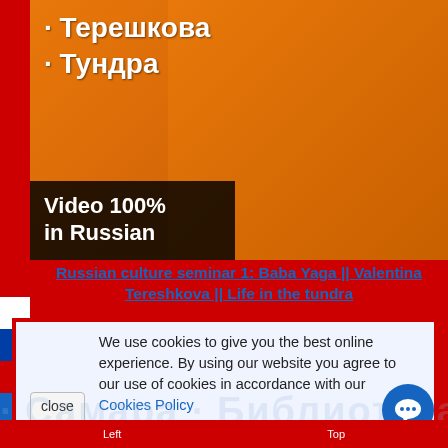[Figure (photo): Banner image for Russian language course. Orange background with Cyrillic text 'Теpешкoва / Тундра' at top left, 'Video 100% in Russian' text overlay in black box at bottom left. Russian flag strips on far left, blue shopping cart icon bottom left. Decorative illustrations of Saint Basil's Cathedral, a brown bear, a smiling blonde woman, and a Russian matryoshka doll.]
Russian culture seminar 1: Baba Yaga || Valentina Tereshkova || Life in the tundra
We use cookies to give you the best online experience. By using our website you agree to our use of cookies in accordance with our Cookies Policy
Left    Top